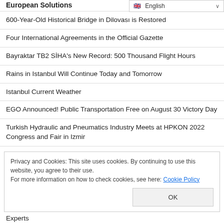European Solutions
600-Year-Old Historical Bridge in Dilovası is Restored
Four International Agreements in the Official Gazette
Bayraktar TB2 SİHA's New Record: 500 Thousand Flight Hours
Rains in Istanbul Will Continue Today and Tomorrow
Istanbul Current Weather
EGO Announced! Public Transportation Free on August 30 Victory Day
Turkish Hydraulic and Pneumatics Industry Meets at HPKON 2022 Congress and Fair in Izmir
Privacy and Cookies: This site uses cookies. By continuing to use this website, you agree to their use.
For more information on how to check cookies, see here: Cookie Policy
Experts